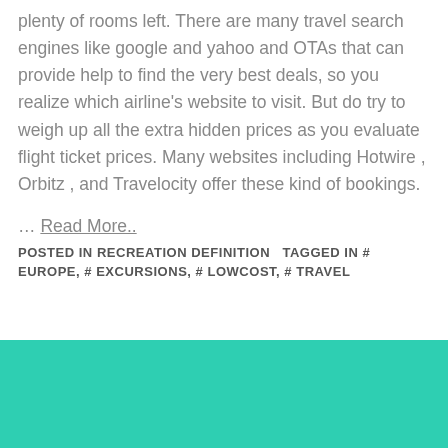plenty of rooms left. There are many travel search engines like google and yahoo and OTAs that can provide help to find the very best deals, so you realize which airline's website to visit. But do try to weigh up all the extra hidden prices as you evaluate flight ticket prices. Many websites including Hotwire , Orbitz , and Travelocity offer these kind of bookings.
… Read More..
POSTED IN RECREATION DEFINITION   TAGGED IN # EUROPE, # EXCURSIONS, # LOWCOST, # TRAVEL
[Figure (other): Solid teal/turquoise colored block at the bottom of the page]